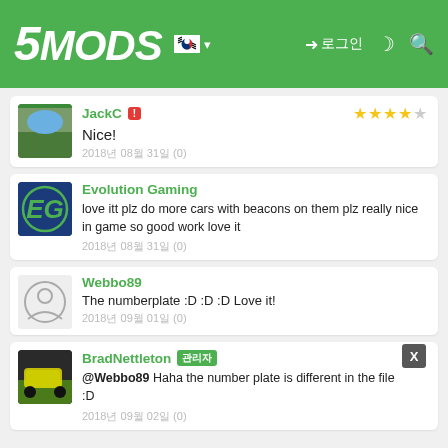5MODS - navigation bar with Korean flag, login, dark mode, search icons
JackC
Nice!
2018년 08월 31일 (0)
Evolution Gaming
love itt plz do more cars with beacons on them plz really nice in game so good work love it
2018년 08월 31일 (0)
Webbo89
The numberplate :D :D :D Love it!
2018년 09월 01일 (0)
BradNettleton
@Webbo89 Haha the number plate is different in the file :D
2018년 09월 02일 (0)